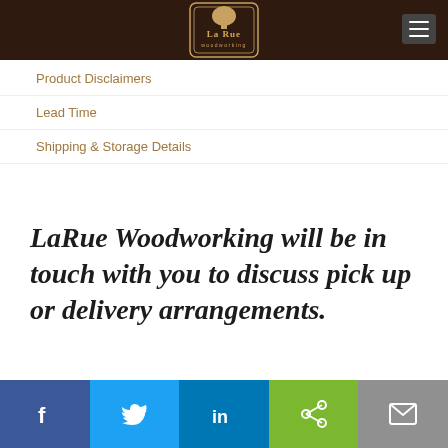[Figure (logo): LaRue Woodworking logo on dark brown navigation bar with tree icon and text]
Product Disclaimers
Lead Time
Shipping & Storage Details
LaRue Woodworking will be in touch with you to discuss pick up or delivery arrangements.
[Figure (infographic): Social share bar with Facebook, Twitter, LinkedIn, Share, and Email buttons]